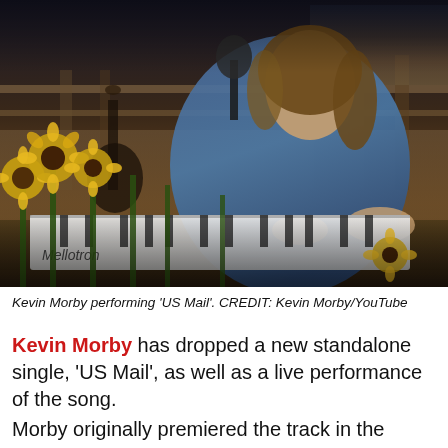[Figure (photo): Kevin Morby playing a keyboard/Mellotron on an outdoor porch at dusk, with sunflowers in the foreground, a guitar leaning in the background, and a microphone in front of him. He has shoulder-length brown hair and is wearing a blue shirt.]
Kevin Morby performing 'US Mail'. CREDIT: Kevin Morby/YouTube
Kevin Morby has dropped a new standalone single, 'US Mail', as well as a live performance of the song.
Morby originally premiered the track in the encore of